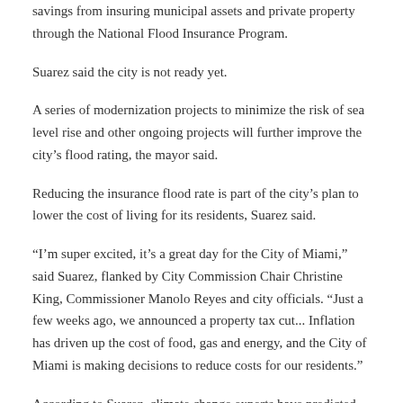savings from insuring municipal assets and private property through the National Flood Insurance Program.
Suarez said the city is not ready yet.
A series of modernization projects to minimize the risk of sea level rise and other ongoing projects will further improve the city's flood rating, the mayor said.
Reducing the insurance flood rate is part of the city's plan to lower the cost of living for its residents, Suarez said.
“I’m super excited, it’s a great day for the City of Miami,” said Suarez, flanked by City Commission Chair Christine King, Commissioner Manolo Reyes and city officials. “Just a few weeks ago, we announced a property tax cut... Inflation has driven up the cost of food, gas and energy, and the City of Miami is making decisions to reduce costs for our residents.”
According to Suarez, climate change experts have predicted that Miami will